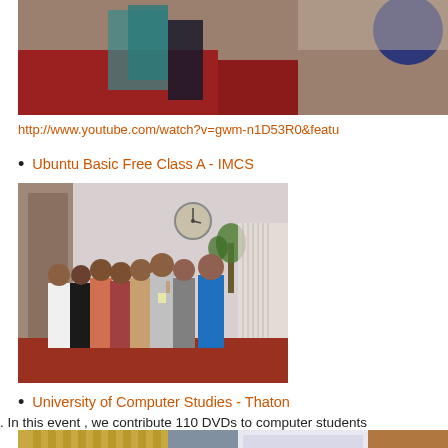[Figure (photo): Partial photo showing a room with red carpet and blue/teal furniture, cut off at top]
http://www.youtube.com/watch?v=gwm-n1D53R0&featu
Ubuntu Basic Free Class A - IMCS
[Figure (photo): Group photo of about 10 young men standing together in a room with a clock on the wall and a plant; one person in blue shirt on right]
University of Computer Studies - Thaton
. In this event , we contribute 110 DVDs to computer students
[Figure (photo): Bottom partial photo showing curtains and a presentation screen with Myanmar text]